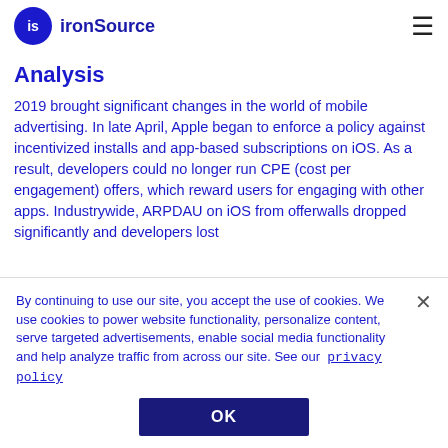ironSource
Analysis
2019 brought significant changes in the world of mobile advertising. In late April, Apple began to enforce a policy against incentivized installs and app-based subscriptions on iOS. As a result, developers could no longer run CPE (cost per engagement) offers, which reward users for engaging with other apps. Industrywide, ARPDAU on iOS from offerwalls dropped significantly and developers lost
By continuing to use our site, you accept the use of cookies. We use cookies to power website functionality, personalize content, serve targeted advertisements, enable social media functionality and help analyze traffic from across our site. See our privacy policy
OK